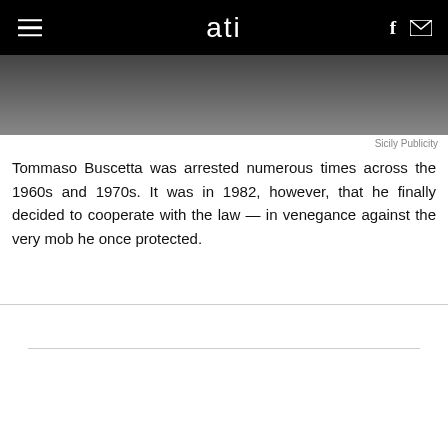ati
[Figure (photo): Black and white photograph strip showing people, partially cropped at top of page]
Sicily Publicity
Tommaso Buscetta was arrested numerous times across the 1960s and 1970s. It was in 1982, however, that he finally decided to cooperate with the law — in venegance against the very mob he once protected.